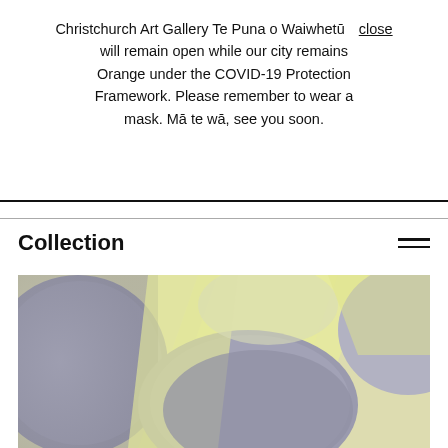Christchurch Art Gallery Te Puna o Waiwhetū will remain open while our city remains Orange under the COVID-19 Protection Framework. Please remember to wear a mask. Mā te wā, see you soon. close
Collection
[Figure (photo): Abstract painting with soft yellow, grey-blue, and white curved shapes suggesting large rounded organic forms against a light background.]